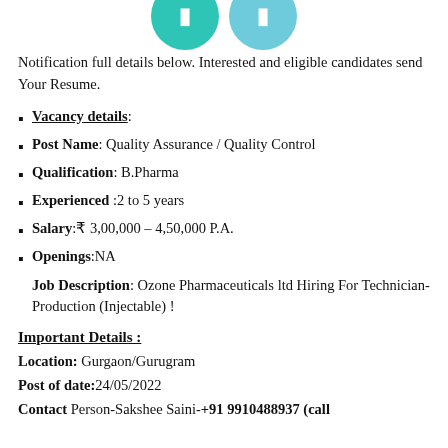Notification full details below. Interested and eligible candidates send Your Resume.
Vacancy details:
Post Name: Quality Assurance / Quality Control
Qualification: B.Pharma
Experienced :2 to 5 years
Salary:₹ 3,00,000 – 4,50,000 P.A.
Openings:NA
Job Description: Ozone Pharmaceuticals ltd Hiring For Technician-Production (Injectable) !
Important Details :
Location: Gurgaon/Gurugram
Post of date:24/05/2022
Contact Person-Sakshee Saini-+91 9910488937 (call